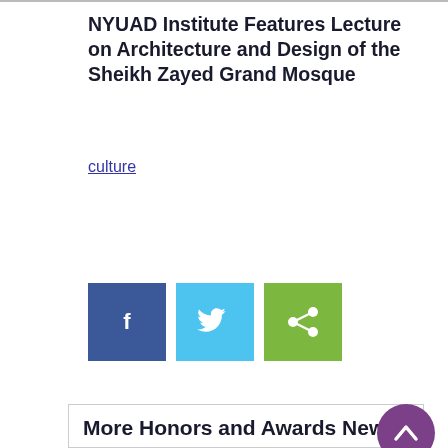NYUAD Institute Features Lecture on Architecture and Design of the Sheikh Zayed Grand Mosque
culture
[Figure (infographic): Three social media share buttons: Facebook (dark blue, f icon), Twitter (light blue, bird icon), Share (green, share icon)]
More Honors and Awards News
[Figure (photo): Aerial or wide-angle photograph of a university campus with white modern buildings and city skyline in the background under a blue sky]